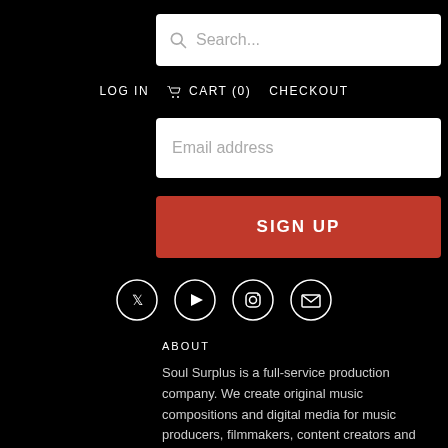[Figure (screenshot): Search bar with magnifying glass icon and placeholder text 'Search...' on white background]
LOG IN   CART (0)   CHECKOUT
[Figure (screenshot): Email address input field with placeholder text on white background]
[Figure (screenshot): Red SIGN UP button]
[Figure (illustration): Four circular social media icons: Twitter, YouTube, Instagram, Email]
ABOUT
Soul Surplus is a full-service production company. We create original music compositions and digital media for music producers, filmmakers, content creators and brands.
© 2022 Soul Surplus LLC.